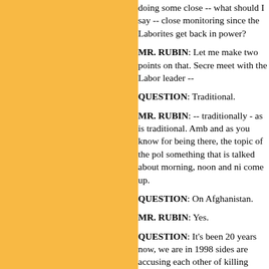doing some close -- what should I say -- close monitoring since the Laborites get back in power?
MR. RUBIN: Let me make two points on that. Secretary Albright did meet with the Labor leader --
QUESTION: Traditional.
MR. RUBIN: -- traditionally - as is traditional. Ambassador and as you know for being there, the topic of the poll something that is talked about morning, noon and night come up.
QUESTION: On Afghanistan.
MR. RUBIN: Yes.
QUESTION: It's been 20 years now, we are in 1998, sides are accusing each other of killing civilians. Civil and thousands. Now the ousted president, Mr. Rabbani sent a letter to the UN secretary, Kofi Annan, accusing the Taliban been killed in Afghanistan. And vice-versa, the Taliban civilians.
And when Mr. Inderfurth was in Russia, he discussed officials, and also Taliban leaders were here in the State Department, what the situation after that meeting?